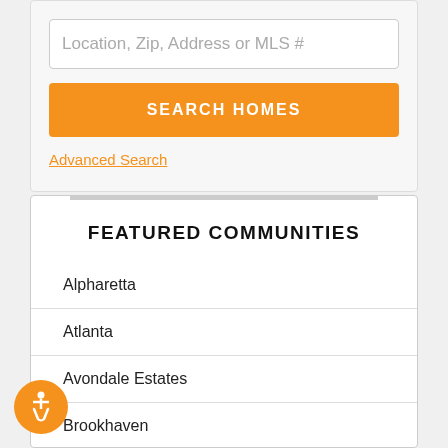Location, Zip, Address or MLS #
SEARCH HOMES
Advanced Search
FEATURED COMMUNITIES
Alpharetta
Atlanta
Avondale Estates
Brookhaven
Buckhead